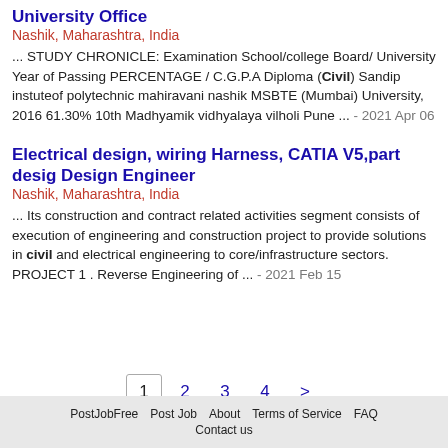University Office
Nashik, Maharashtra, India
... STUDY CHRONICLE: Examination School/college Board/ University Year of Passing PERCENTAGE / C.G.P.A Diploma (Civil) Sandip instuteof polytechnic mahiravani nashik MSBTE (Mumbai) University, 2016 61.30% 10th Madhyamik vidhyalaya vilholi Pune ... - 2021 Apr 06
Electrical design, wiring Harness, CATIA V5,part desig Design Engineer
Nashik, Maharashtra, India
... Its construction and contract related activities segment consists of execution of engineering and construction project to provide solutions in civil and electrical engineering to core/infrastructure sectors. PROJECT 1 . Reverse Engineering of ... - 2021 Feb 15
Pagination: 1 2 3 4 >
PostJobFree   Post Job   About   Terms of Service   FAQ   Contact us